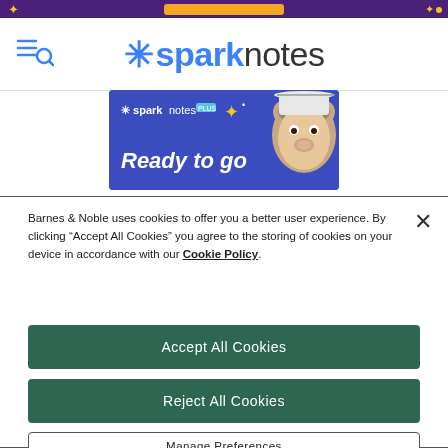SparkNotes
[Figure (illustration): SparkNotes PLUS promotional banner with a bear mascot and text 'Ready to go', on a dark blue/purple background]
Barnes & Noble uses cookies to offer you a better user experience. By clicking “Accept All Cookies” you agree to the storing of cookies on your device in accordance with our Cookie Policy.
Accept All Cookies
Reject All Cookies
Manage Preferences